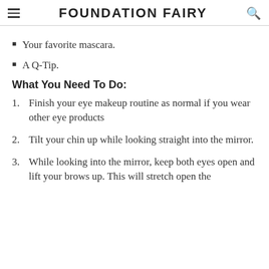FOUNDATION FAIRY
Your favorite mascara.
A Q-Tip.
What You Need To Do:
Finish your eye makeup routine as normal if you wear other eye products
Tilt your chin up while looking straight into the mirror.
While looking into the mirror, keep both eyes open and lift your brows up. This will stretch open the